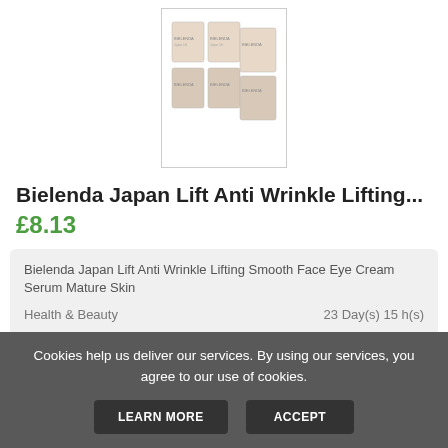[Figure (photo): Product image showing Bielenda Japan Lift Anti Wrinkle Lifting cream/serum packages arranged in a grid]
Bielenda Japan Lift Anti Wrinkle Lifting...
£8.13
Bielenda Japan Lift Anti Wrinkle Lifting Smooth Face Eye Cream Serum Mature Skin
Health & Beauty
23 Day(s) 15 h(s)
Various £8.88
BUY ON EBAY
Cookies help us deliver our services. By using our services, you agree to our use of cookies.
LEARN MORE
ACCEPT